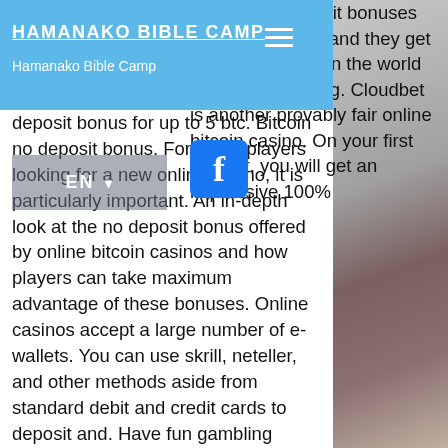HAMANAKO BIBLE CAMP
Hamanako Bible Camp
offering no deposit bonuses are very popular and they get a lot of attention in the world of online gambling. Cloudbet is another provably fair online bitcoin casino. On your first deposit, you will get an impressive 100% deposit bonus for up to 5 btc. Bitcoin no deposit bonus. For many players looking for a new online casino, it is particularly important. An in-depth look at the no deposit bonus offered by online bitcoin casinos and how players can take maximum advantage of these bonuses. Online casinos accept a large number of e-wallets. You can use skrill, neteller, and other methods aside from standard debit and credit cards to deposit and. Have fun gambling online with bitcoins today at these top-rated casinos: find a new crypto casino casinobonuscountrybutton 25 free spins no deposit bonus! Spins on slots in exchange for your first real money crypto deposit at an online casino. How to claim a no deposit bonus at bitcoin casino. These